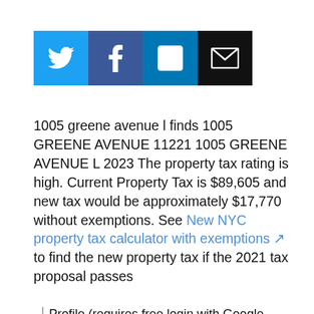[Figure (infographic): Row of four social media sharing icons: Twitter (blue bird), Facebook (blue f), LinkedIn (blue in), Email (black envelope)]
1005 greene avenue l finds 1005 GREENE AVENUE 11221 1005 GREENE AVENUE L 2023 The property tax rating is high. Current Property Tax is $89,605 and new tax would be approximately $17,770 without exemptions. See New NYC property tax calculator with exemptions ↗ to find the new property tax if the 2021 tax proposal passes
Profile (requires free login with Google Account)